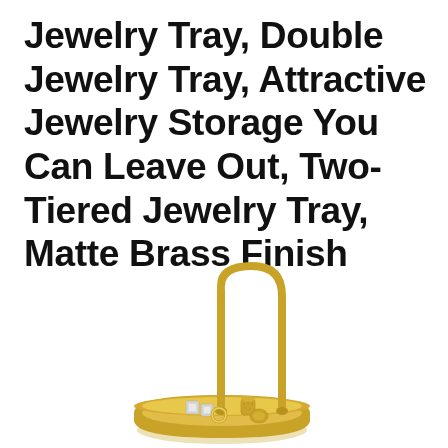Jewelry Tray, Double Jewelry Tray, Attractive Jewelry Storage You Can Leave Out, Two-Tiered Jewelry Tray, Matte Brass Finish
[Figure (photo): A matte brass finish two-tiered jewelry tray with a tall curved arch handle, circular bottom tray holding small jewelry items including earrings, a ring, and a small cylindrical container]